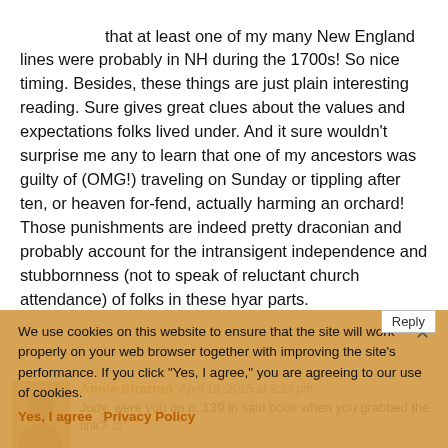that at least one of my many New England lines were probably in NH during the 1700s! So nice timing. Besides, these things are just plain interesting reading. Sure gives great clues about the values and expectations folks lived under. And it sure wouldn't surprise me any to learn that one of my ancestors was guilty of (OMG!) traveling on Sunday or tippling after ten, or heaven for-fend, actually harming an orchard! Those punishments are indeed pretty draconian and probably account for the intransigent independence and stubbornness (not to speak of reluctant church attendance) of folks in these hyar parts.
We use cookies on this website to ensure that the site will work properly on your web browser together with improving the site's performance. If you click "Yes, I agree," you are agreeing to our use of cookies.
Annie Stratton April 19, 2015 at 2:23 pm
Judy, were you on p. 139 in said book when you grabbed the link?